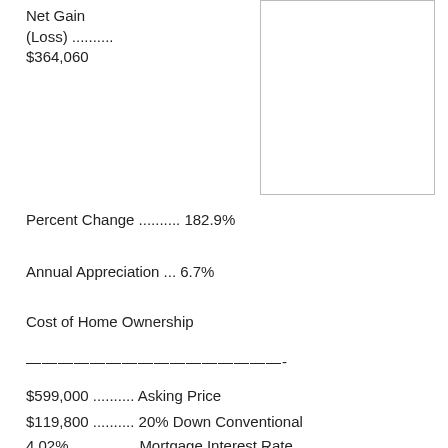Net Gain (Loss) .......... $364,060
[Figure (other): Empty bordered box in upper right area]
Percent Change .......... 182.9%
Annual Appreciation ... 6.7%
Cost of Home Ownership
————————————————-
$599,000 .......... Asking Price
$119,800 .......... 20% Down Conventional
4.02% ............... Mortgage Interest Rate
$479,200 .......... 30 Year Mortgage